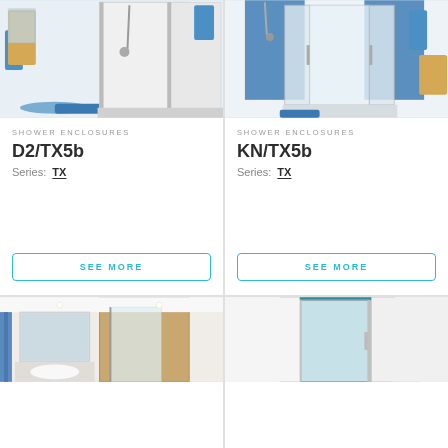[Figure (photo): Shower enclosure D2/TX5b installed in a bathroom with blue towel and mat]
SHOWER ENCLOSURES
D2/TX5b
Series: TX
SEE MORE
[Figure (photo): Shower enclosure KN/TX5b installed in a bathroom with blue wall panels]
SHOWER ENCLOSURES
KN/TX5b
Series: TX
SEE MORE
[Figure (photo): Bottom-left shower product photo in a modern bathroom]
[Figure (photo): Bottom-right shower door product photo with teal wall]